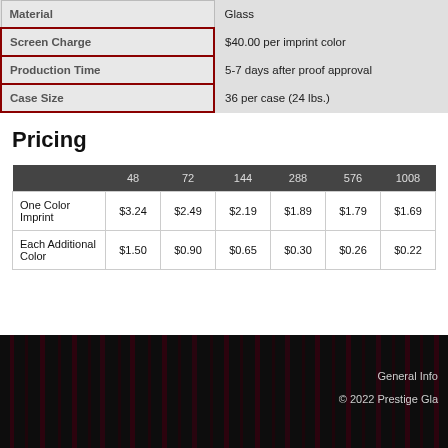|  |  |
| --- | --- |
| Material | Glass |
| Screen Charge | $40.00 per imprint color |
| Production Time | 5-7 days after proof approval |
| Case Size | 36 per case (24 lbs.) |
Pricing
|  | 48 | 72 | 144 | 288 | 576 | 1008 |
| --- | --- | --- | --- | --- | --- | --- |
| One Color Imprint | $3.24 | $2.49 | $2.19 | $1.89 | $1.79 | $1.69 |
| Each Additional Color | $1.50 | $0.90 | $0.65 | $0.30 | $0.26 | $0.22 |
General Info
© 2022 Prestige Gla